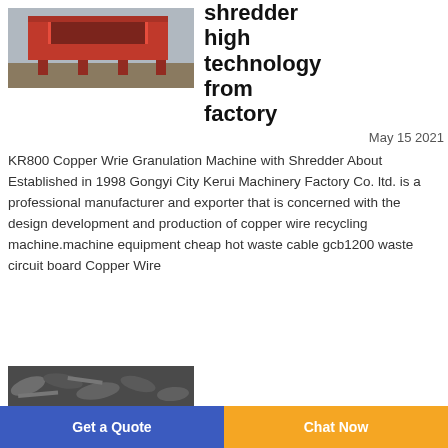[Figure (photo): Red industrial shredder machine on dirt ground]
shredder high technology from factory
May 15 2021
KR800 Copper Wrie Granulation Machine with Shredder About Established in 1998 Gongyi City Kerui Machinery Factory Co. ltd. is a professional manufacturer and exporter that is concerned with the design development and production of copper wire recycling machine.machine equipment cheap hot waste cable gcb1200 waste circuit board Copper Wire
[Figure (photo): Shredded metal/copper wire material pile]
Get a Quote
Chat Now